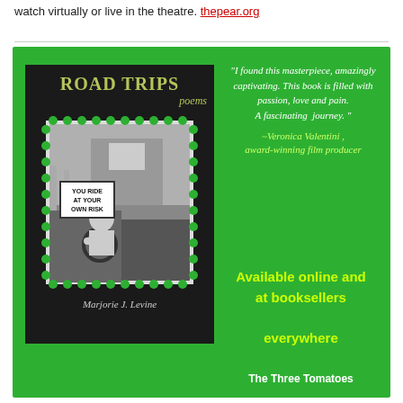watch virtually or live in the theatre. thepear.org
[Figure (illustration): Advertisement for 'Road Trips poems' by Marjorie J. Levine on a green background. Left side shows the book cover (black background, stamp-style image of a child in an old vehicle with a sign reading 'YOU RIDE AT YOUR OWN RISK'). Right side has a white italic quote: 'I found this masterpiece, amazingly captivating. This book is filled with passion, love and pain. A fascinating journey.' attributed to Veronica Valentini, award-winning film producer (in yellow-green). Below: 'Available online and at booksellers everywhere' in yellow-green bold. Bottom right: 'The Three Tomatoes' in white bold.]